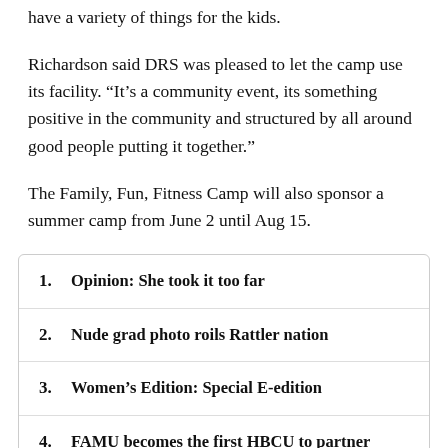have a variety of things for the kids.
Richardson said DRS was pleased to let the camp use its facility. “It’s a community event, its something positive in the community and structured by all around good people putting it together.”
The Family, Fun, Fitness Camp will also sponsor a summer camp from June 2 until Aug 15.
Opinion: She took it too far
Nude grad photo roils Rattler nation
Women’s Edition: Special E-edition
FAMU becomes the first HBCU to partner with Twitter